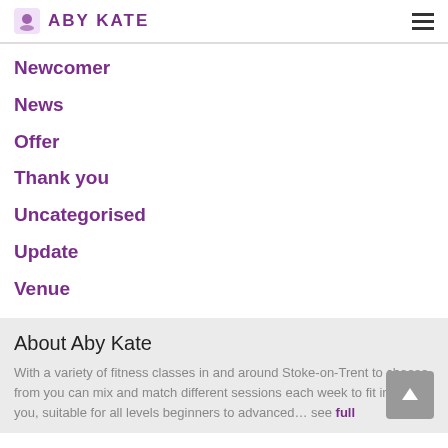ABY KATE
Newcomer
News
Offer
Thank you
Uncategorised
Update
Venue
About Aby Kate
With a variety of fitness classes in and around Stoke-on-Trent to choose from you can mix and match different sessions each week to fit in with you, suitable for all levels beginners to advanced… see full